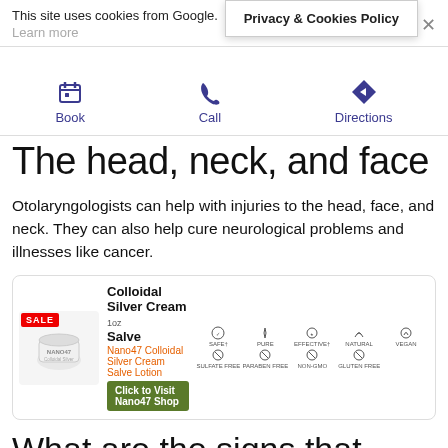Privacy & Cookies Policy
This site uses cookies from Google.
Learn more
[Figure (infographic): Three navigation icons for Book, Call, and Directions in purple/dark blue color]
The head, neck, and face
Otolaryngologists can help with injuries to the head, face, and neck. They can also help cure neurological problems and illnesses like cancer.
[Figure (infographic): Advertisement for Colloidal Silver Cream Salve 1oz by Nano47 with SALE badge, product image, and icons for Safe, Pure, Effective, Natural, Vegan, Sulfate Free, Paraben Free, Non-GMO, Gluten Free]
What are the signs that